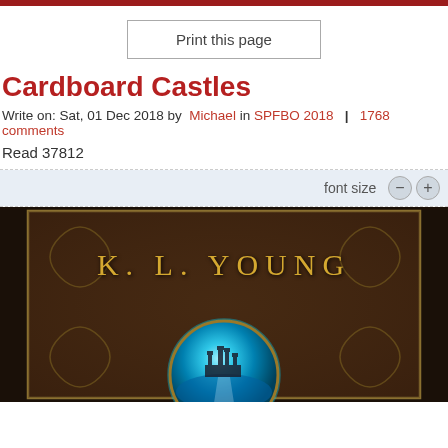[Figure (screenshot): Red top navigation bar]
Print this page
Cardboard Castles
Write on: Sat, 01 Dec 2018 by Michael in SPFBO 2018 | 1768 comments
Read 37812
font size - +
[Figure (photo): Book cover for Cardboard Castles by K.L. Young — dark background with ornate border, author name in gold serif letters, and a glowing blue orb at the bottom containing a castle silhouette]